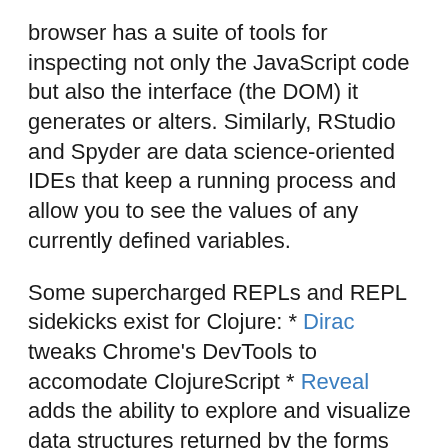browser has a suite of tools for inspecting not only the JavaScript code but also the interface (the DOM) it generates or alters. Similarly, RStudio and Spyder are data science-oriented IDEs that keep a running process and allow you to see the values of any currently defined variables.
Some supercharged REPLs and REPL sidekicks exist for Clojure: * Dirac tweaks Chrome's DevTools to accomodate ClojureScript * Reveal adds the ability to explore and visualize data structures returned by the forms you're evaluating. * Portal, inspired by Reveal, similarly lets you explore a variety of data types.